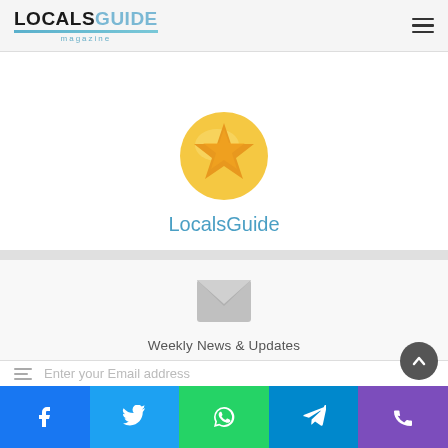LOCALSGUIDE magazine
[Figure (logo): LocalsGuide star logo — gold star on yellow circle, with text 'LocalsGuide' in blue below]
Weekly News & Updates
All About Ashland, Oregon
Enter your Email address
[Figure (infographic): Social share bar with Facebook, Twitter, WhatsApp, Telegram, and phone icons]